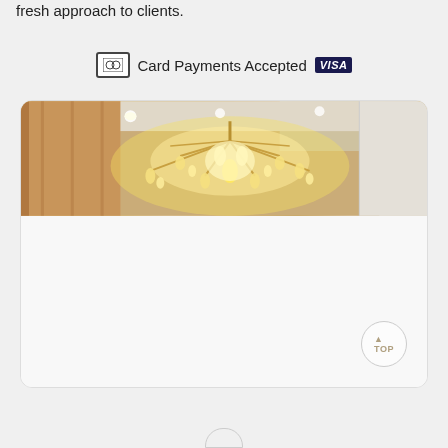fresh approach to clients.
Card Payments Accepted VISA
[Figure (photo): Interior photo showing a large ornate crystal chandelier with gold arms, ceiling with recessed lighting, and warm wood-paneled walls in an elegant venue or hotel lobby.]